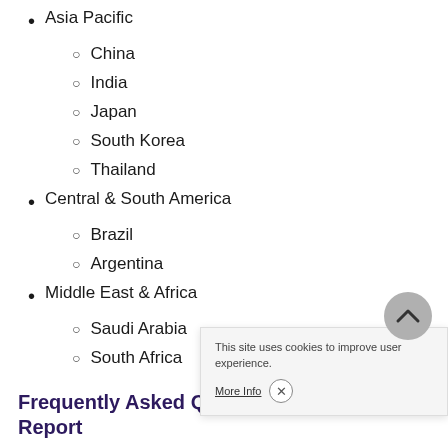Asia Pacific
China
India
Japan
South Korea
Thailand
Central & South America
Brazil
Argentina
Middle East & Africa
Saudi Arabia
South Africa
Frequently Asked Que Report